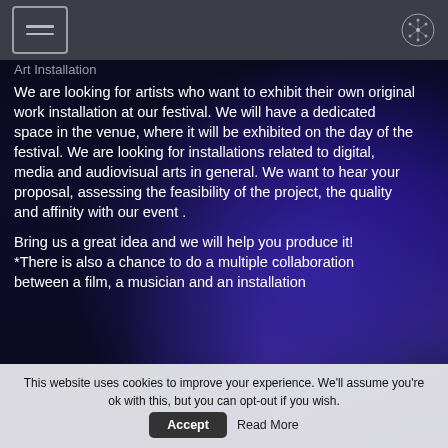navigation header with hamburger menu and logo icon
Art Installation
We are looking for artists who want to exhibit their own original work installation at our festival. We will have a dedicated space in the venue, where it will be exhibited on the day of the festival. We are looking for installations related to digital, media and audiovisual arts in general. We want to hear your proposal, assessing the feasibility of the project, the quality and affinity with our event .
Bring us a great idea and we will help you produce it! *There is also a chance to do a multiple collaboration between a film, a musician and an installation
This website uses cookies to improve your experience. We'll assume you're ok with this, but you can opt-out if you wish. Accept Read More